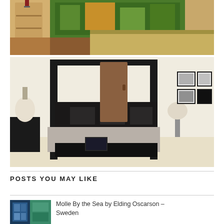[Figure (photo): Bedroom with colorful jungle/dinosaur mural wallpaper on wall, wooden furniture with lamp, hardwood floor]
[Figure (photo): Elegant bedroom with black four-poster canopy bed, dark wood nightstands with silver lamps, white walls, four framed black and white photos on wall]
POSTS YOU MAY LIKE
[Figure (photo): Thumbnail photo of a modern building with blue/green facade]
Molle By the Sea by Elding Oscarson – Sweden